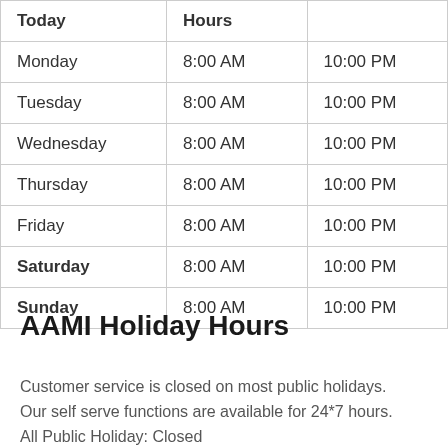| Today | Hours |  |
| --- | --- | --- |
| Monday | 8:00 AM | 10:00 PM |
| Tuesday | 8:00 AM | 10:00 PM |
| Wednesday | 8:00 AM | 10:00 PM |
| Thursday | 8:00 AM | 10:00 PM |
| Friday | 8:00 AM | 10:00 PM |
| Saturday | 8:00 AM | 10:00 PM |
| Sunday | 8:00 AM | 10:00 PM |
AAMI Holiday Hours
Customer service is closed on most public holidays. Our self serve functions are available for 24*7 hours. All Public Holiday: Closed